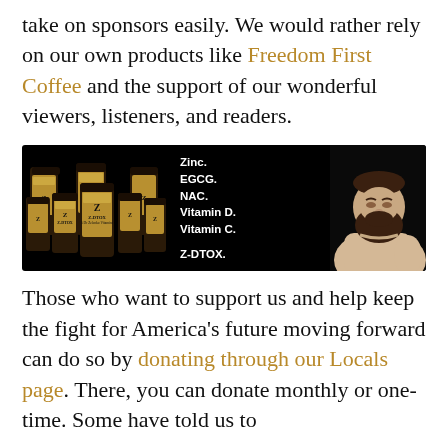take on sponsors easily. We would rather rely on our own products like Freedom First Coffee and the support of our wonderful viewers, listeners, and readers.
[Figure (photo): Z-DTOX supplement product advertisement banner on black background showing multiple dark glass bottles with gold labels on the left, centered text listing ingredients (Zinc, EGCG, NAC, Vitamin D, Vitamin C, Z-DTOX), and a bearded man in a beige sweater on the right.]
Those who want to support us and help keep the fight for America's future moving forward can do so by donating through our Locals page. There, you can donate monthly or one-time. Some have told us to